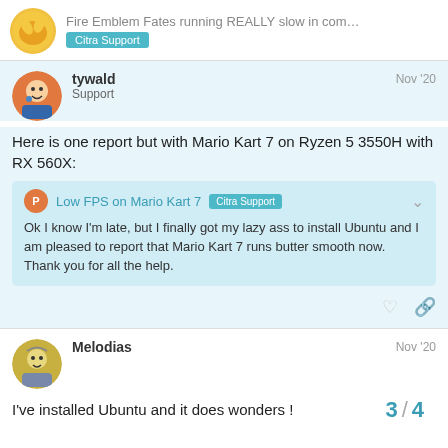Fire Emblem Fates running REALLY slow in com... | Citra Support
tywald | Support | Nov '20
Here is one report but with Mario Kart 7 on Ryzen 5 3550H with RX 560X:
Low FPS on Mario Kart 7 | Citra Support
Ok I know I'm late, but I finally got my lazy ass to install Ubuntu and I am pleased to report that Mario Kart 7 runs butter smooth now. Thank you for all the help.
Melodias | Nov '20
I've installed Ubuntu and it does wonders !
3 / 4